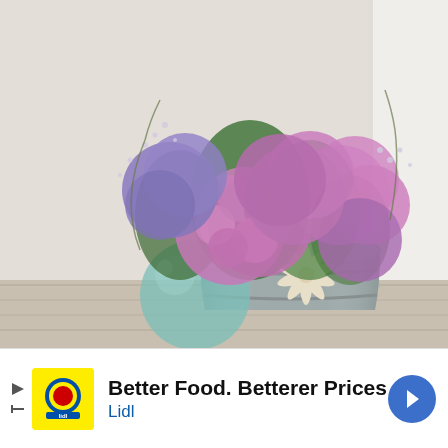[Figure (photo): A floral arrangement of purple and pink hydrangeas with small filler flowers in a galvanized metal bucket decorated with a starfish. A teal glass fishing float ball sits beside the bucket on a white-painted wooden surface with a white brick wall background.]
Better Food. Betterer Prices Lidl